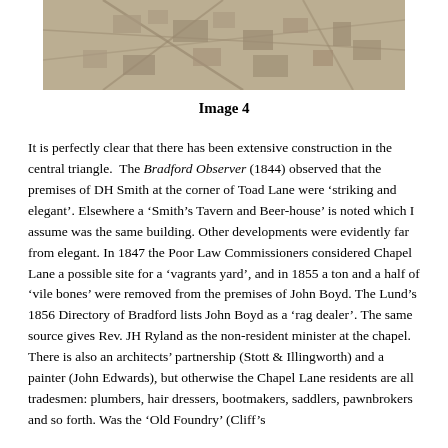[Figure (photo): Aerial or plan-view map image showing a central triangle area with construction, roads and buildings visible in sepia/tan tones.]
Image 4
It is perfectly clear that there has been extensive construction in the central triangle.  The Bradford Observer (1844) observed that the premises of DH Smith at the corner of Toad Lane were ‘striking and elegant’. Elsewhere a ‘Smith’s Tavern and Beer-house’ is noted which I assume was the same building. Other developments were evidently far from elegant. In 1847 the Poor Law Commissioners considered Chapel Lane a possible site for a ‘vagrants yard’, and in 1855 a ton and a half of ‘vile bones’ were removed from the premises of John Boyd. The Lund’s 1856 Directory of Bradford lists John Boyd as a ‘rag dealer’. The same source gives Rev. JH Ryland as the non-resident minister at the chapel. There is also an architects’ partnership (Stott & Illingworth) and a painter (John Edwards), but otherwise the Chapel Lane residents are all tradesmen: plumbers, hair dressers, bootmakers, saddlers, pawnbrokers and so forth. Was the ‘Old Foundry’ (Cliff’s